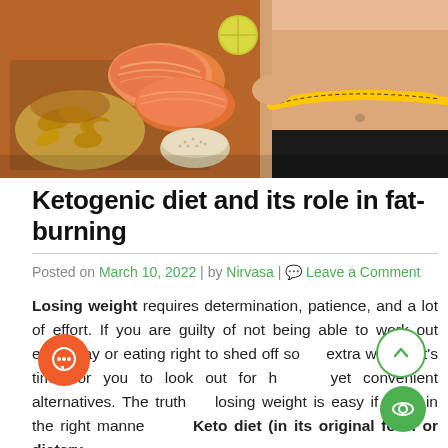[Figure (photo): Hero image showing keto diet foods: almonds, salmon, seeds on a wooden board on the left, and a person measuring their waist with a yellow measuring tape on the right]
Ketogenic diet and its role in fat-burning
Posted on March 10, 2022 | by Nirvasa | Leave a Comment
Losing weight requires determination, patience, and a lot of effort. If you are guilty of not being able to work out every day or eating right to shed off some extra weight, it's time for you to look out for healthy yet convenient alternatives. The truth is, losing weight is easy if done in the right manner. The Keto diet (in its original form or dietary…